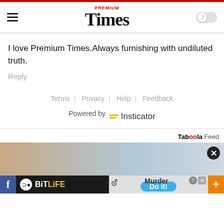Premium Times
I love Premium Times.Always furnishing with undiluted truth.
Reply
Terms | Privacy | Help | Feedback
Powered by Insticator
[Figure (screenshot): Taboola Feed label and advertisement banner area with BitLife and Murder game ads]
Taboola Feed